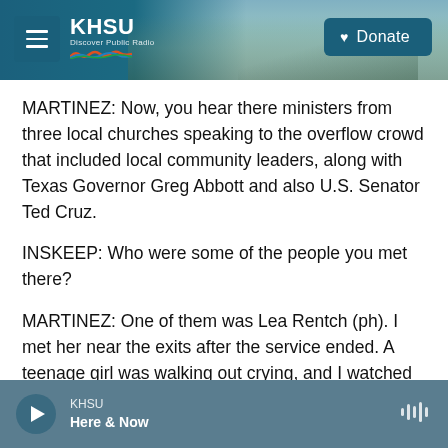[Figure (screenshot): KHSU public radio website header banner with coastal landscape background, hamburger menu icon, KHSU logo with colorful wave graphic, and Donate button on right]
MARTINEZ: Now, you hear there ministers from three local churches speaking to the overflow crowd that included local community leaders, along with Texas Governor Greg Abbott and also U.S. Senator Ted Cruz.
INSKEEP: Who were some of the people you met there?
MARTINEZ: One of them was Lea Rentch (ph). I met her near the exits after the service ended. A teenage girl was walking out crying, and I watched
KHSU  Here & Now